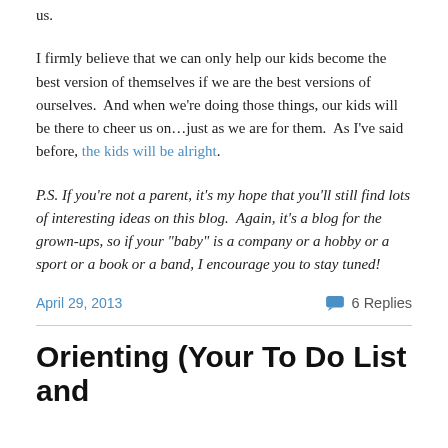us.
I firmly believe that we can only help our kids become the best version of themselves if we are the best versions of ourselves.  And when we're doing those things, our kids will be there to cheer us on…just as we are for them.  As I've said before, the kids will be alright.
P.S. If you're not a parent, it's my hope that you'll still find lots of interesting ideas on this blog.  Again, it's a blog for the grown-ups, so if your "baby" is a company or a hobby or a sport or a book or a band, I encourage you to stay tuned!
April 29, 2013   6 Replies
Orienting (Your To Do List and